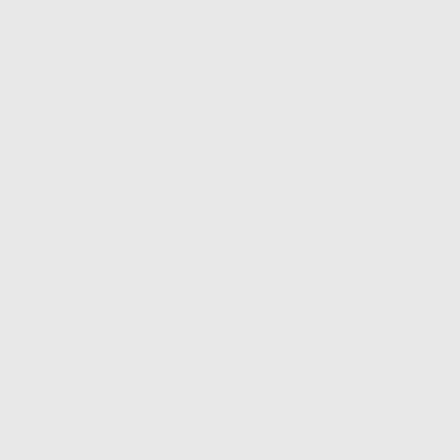[Figure (photo): Dark columnar image panel on the left side of the page, showing dark grey and black vertical bands suggesting a shadowed cylindrical or architectural surface.]
Alignment & Era
Mission profile: R "see what we've proposed the Co Regenerative Sh suitably powerful assembly, with e energy needed t exponentially wit Technology has b into one lethal co needed to contro Technologies: Class 2 Regener effectively. Near and would burn c the damaged 'dis filters allow the a overload. Quantum Phase tested its first arr almost have to b Federation wants as phasers are e the problem we a also powered b
Class 2 Regenerative Shield
Quantum Phase